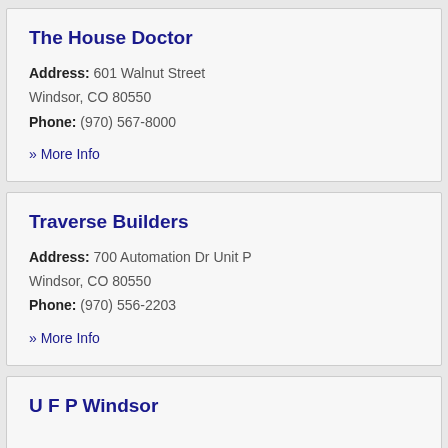The House Doctor
Address: 601 Walnut Street Windsor, CO 80550
Phone: (970) 567-8000
» More Info
Traverse Builders
Address: 700 Automation Dr Unit P Windsor, CO 80550
Phone: (970) 556-2203
» More Info
U F P Windsor